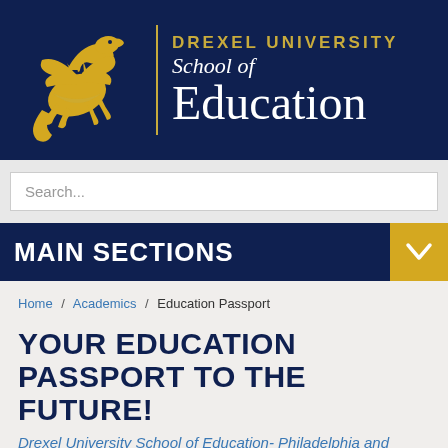[Figure (logo): Drexel University School of Education logo with gold dragon and text]
Search...
MAIN SECTIONS
Home / Academics / Education Passport
YOUR EDUCATION PASSPORT TO THE FUTURE!
Drexel University School of Education- Philadelphia and Online
WHAT IS AN EDUCATION PASSPORT?